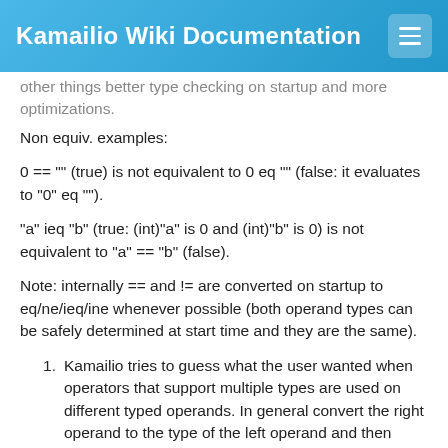Kamailio Wiki Documentation
other things better type checking on startup and more optimizations.
Non equiv. examples:
0 == "" (true) is not equivalent to 0 eq "" (false: it evaluates to "0" eq "").
"a" ieq "b" (true: (int)"a" is 0 and (int)"b" is 0) is not equivalent to "a" == "b" (false).
Note: internally == and != are converted on startup to eq/ne/ieq/ine whenever possible (both operand types can be safely determined at start time and they are the same).
Kamailio tries to guess what the user wanted when operators that support multiple types are used on different typed operands. In general convert the right operand to the type of the left operand and then